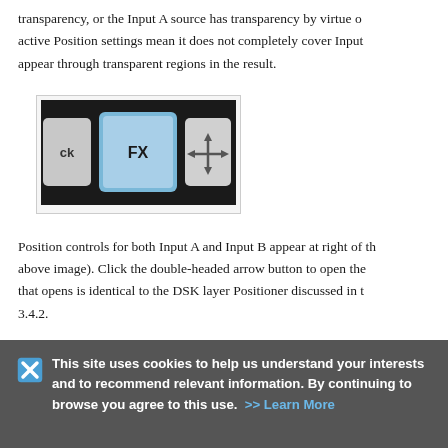transparency, or the Input A source has transparency by virtue of active Position settings mean it does not completely cover Input appear through transparent regions in the result.
[Figure (screenshot): Screenshot of video switcher interface buttons showing 'ck', 'FX' (highlighted in blue), and a double-headed arrow (move) button on a dark background.]
Position controls for both Input A and Input B appear at right of the above image). Click the double-headed arrow button to open the that opens is identical to the DSK layer Positioner discussed in the 3.4.2.
This site uses cookies to help us understand your interests and to recommend relevant information. By continuing to browse you agree to this use. >> Learn More